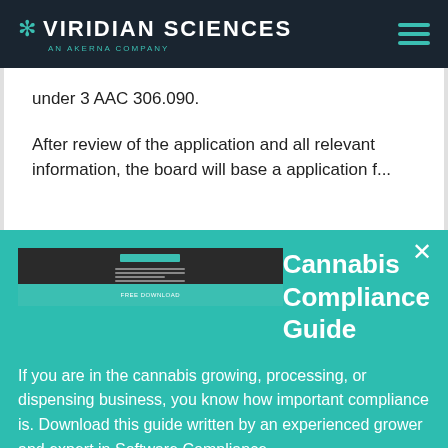VIRIDIAN SCIENCES — AN AKERNA COMPANY
under 3 AAC 306.090.
After review of the application and all relevant information, the board will base a application f...
Cannabis Compliance Guide
If you are in the cannabis growing, processing, or dispensing business, you know how important compliance is. Download this guide written by an experienced grower and expert in Software Compliance.
Download